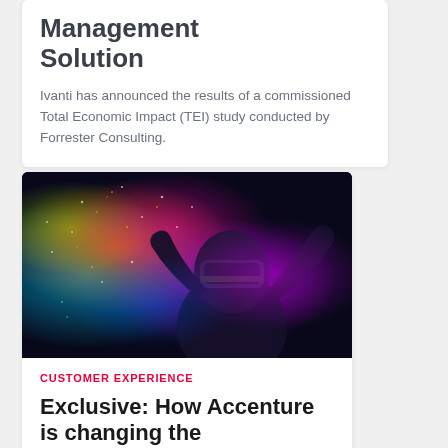Management Solution
Ivanti has announced the results of a commissioned Total Economic Impact (TEI) study conducted by Forrester Consulting.
[Figure (photo): A person wearing a VR headset against a dark background with colorful particle effects and light bursts in blue, green, pink and orange]
CUSTOMER EXPERIENCE
Exclusive: How Accenture is changing the